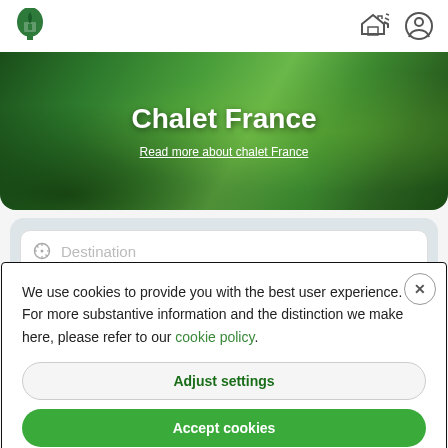[Figure (screenshot): Navigation bar with green leaf-house logo on left, and chalet/user icons on right]
[Figure (photo): Hero banner with green forest/nature background showing trees and foliage]
Chalet France
Read more about chalet France
[Figure (screenshot): Search destination input field with compass icon and placeholder text 'Destination']
We use cookies to provide you with the best user experience. For more substantive information and the distinction we make here, please refer to our cookie policy.
Adjust settings
Accept cookies